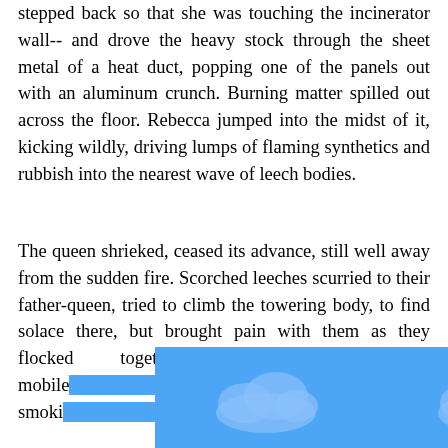stepped back so that she was touching the incinerator wall-- and drove the heavy stock through the sheet metal of a heat duct, popping one of the panels out with an aluminum crunch. Burning matter spilled out across the floor. Rebecca jumped into the midst of it, kicking wildly, driving lumps of flaming synthetics and rubbish into the nearest wave of leech bodies.
The queen shrieked, ceased its advance, still well away from the sudden fire. Scorched leeches scurried to their father-queen, tried to climb the towering body, to find solace there, but brought pain with them as they flocked together, attaching to the mobile [obscured] sity as smoki[obscured] g her,
[Figure (other): Blue rectangle overlay with cloud icons obscuring part of the text]